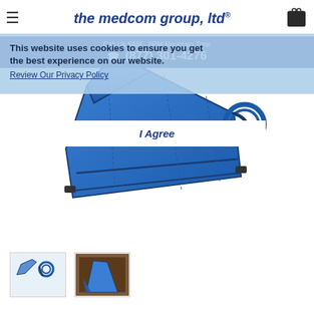the medcom group, ltd®
Call Us 8AM - 8PM Mountain Time
(877) 301-4276
This website uses cookies to ensure you get the best experience on our website.
Review Our Privacy Policy
I Agree
[Figure (photo): Blue compression leg wrap/garment with tubing connector, laid flat on white background]
[Figure (photo): Thumbnail image: blue compression garment detail]
[Figure (photo): Thumbnail image: compression garment being worn on a leg, in-use photo]